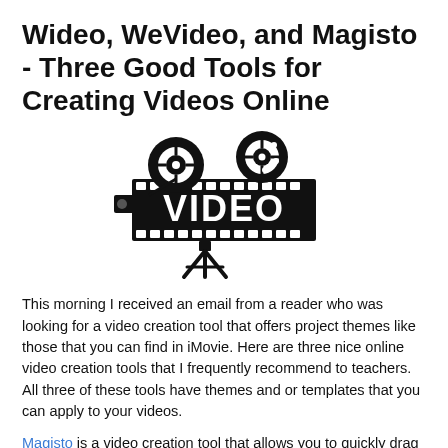Wideo, WeVideo, and Magisto - Three Good Tools for Creating Videos Online
[Figure (illustration): Black and white illustration of a vintage film camera with film reels and a film strip banner reading 'VIDEO' in large block letters]
This morning I received an email from a reader who was looking for a video creation tool that offers project themes like those that you can find in iMovie. Here are three nice online video creation tools that I frequently recommend to teachers. All three of these tools have themes and or templates that you can apply to your videos.
Magisto is a video creation tool that allows you to quickly drag videos and images from your desktop and or Google Drive account to your Magisto account. From the videos you upload, Magisto will select the best portions to remix and blend with images. After